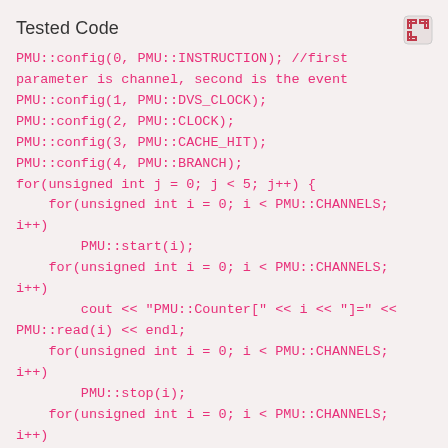Tested Code
PMU::config(0, PMU::INSTRUCTION); //first parameter is channel, second is the event
PMU::config(1, PMU::DVS_CLOCK);
PMU::config(2, PMU::CLOCK);
PMU::config(3, PMU::CACHE_HIT);
PMU::config(4, PMU::BRANCH);
for(unsigned int j = 0; j < 5; j++) {
    for(unsigned int i = 0; i < PMU::CHANNELS; i++)
        PMU::start(i);
    for(unsigned int i = 0; i < PMU::CHANNELS; i++)
        cout << "PMU::Counter[" << i << "]="  << PMU::read(i) << endl;
    for(unsigned int i = 0; i < PMU::CHANNELS; i++)
        PMU::stop(i);
    for(unsigned int i = 0; i < PMU::CHANNELS; i++)
        cout << "PMU::Counter[" << i << "]="  <<